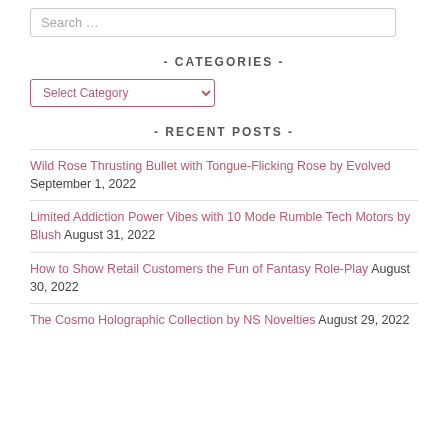Search …
- CATEGORIES -
Select Category
- RECENT POSTS -
Wild Rose Thrusting Bullet with Tongue-Flicking Rose by Evolved September 1, 2022
Limited Addiction Power Vibes with 10 Mode Rumble Tech Motors by Blush August 31, 2022
How to Show Retail Customers the Fun of Fantasy Role-Play August 30, 2022
The Cosmo Holographic Collection by NS Novelties August 29, 2022